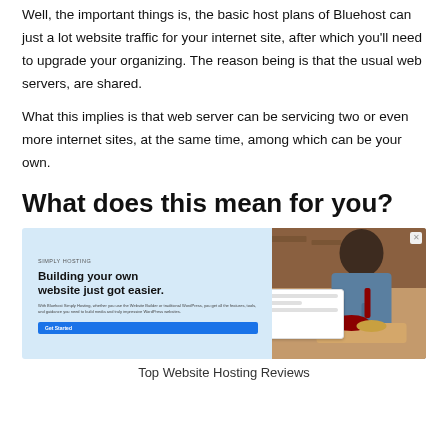Well, the important things is, the basic host plans of Bluehost can just a lot website traffic for your internet site, after which you'll need to upgrade your organizing. The reason being is that the usual web servers, are shared.
What this implies is that web server can be servicing two or even more internet sites, at the same time, among which can be your own.
What does this mean for you?
[Figure (screenshot): Screenshot of a web hosting product page showing 'Building your own website just got easier.' heading with a blue button and a photo of a chef cooking on the right side against a light blue background.]
Top Website Hosting Reviews